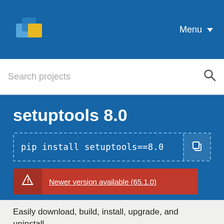[Figure (logo): PyPI logo - colorful package/box icon]
Menu ▼
Search projects
setuptools 8.0
pip install setuptools==8.0
Newer version available (65.1.0)
Released: Dec 13, 2014
Easily download, build, install, upgrade, and uninstall Python packages